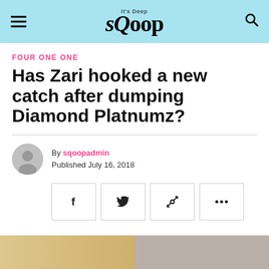sQoop - It's Deep
FOUR ONE ONE
Has Zari hooked a new catch after dumping Diamond Platnumz?
By sqoopadmin
Published July 16, 2018
[Figure (other): Social share buttons: Facebook, Twitter, link, more]
[Figure (photo): Partial photo of people at the bottom of the page]